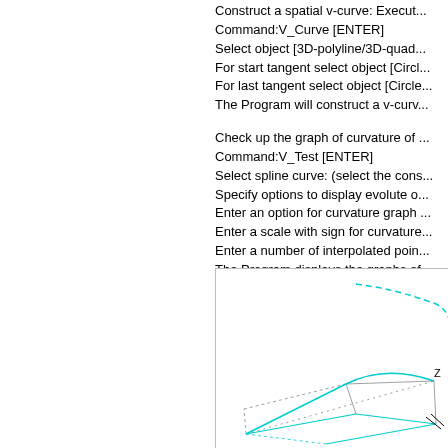Construct a spatial v-curve: Execute
Command:V_Curve [ENTER]
Select object [3D-polyline/3D-quad...
For start tangent select object [Circle...
For last tangent select object [Circle...
The Program will construct a v-curv...
Check up the graph of curvature of...
Command:V_Test [ENTER]
Select spline curve: (select the cons...
Specify options to display evolute o...
Enter an option for curvature graph...
Enter a scale with sign for curvature...
Enter a number of interpolated poin...
The Program displays the graphs of...
[Figure (engineering-diagram): 3D engineering diagram showing a spatial v-curve with coordinate axes, including a dashed curve and solid lines forming a 3D shape with a Z axis label visible.]